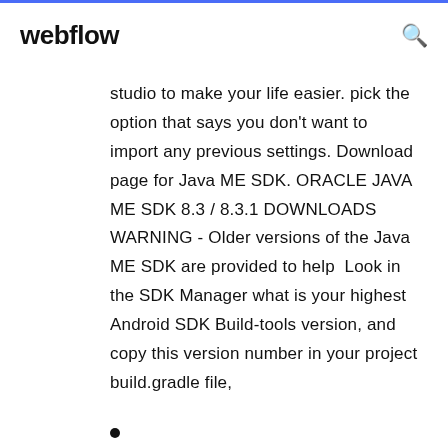webflow
studio to make your life easier. pick the option that says you don't want to import any previous settings. Download page for Java ME SDK. ORACLE JAVA ME SDK 8.3 / 8.3.1 DOWNLOADS WARNING - Older versions of the Java ME SDK are provided to help  Look in the SDK Manager what is your highest Android SDK Build-tools version, and copy this version number in your project build.gradle file,